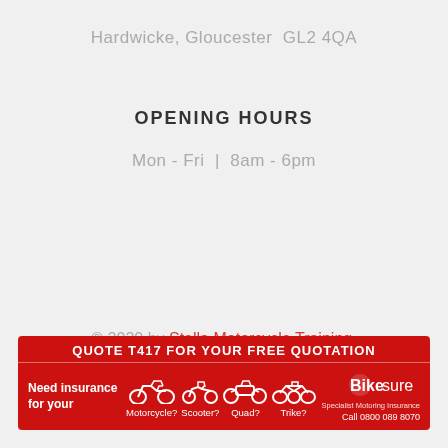Hardwicke, Gloucester  GL2 4QA
OPENING HOURS
Mon - Fri  |  8am - 6pm
© 2020 by Stella Motorcycle Training. Website by Dynamic.
[Figure (infographic): Red advertisement banner for Bikesure insurance. Header text: QUOTE T417 FOR YOUR FREE QUOTATION. Left side: Need insurance for your. Middle: icons of Motorcycle, Scooter, Quad, Trike with labels. Right: Bikesure logo and Call 0800 089 8070.]